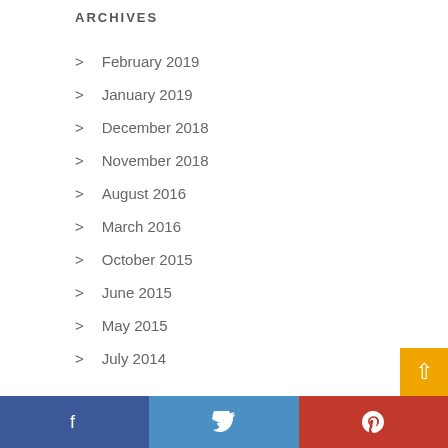ARCHIVES
February 2019
January 2019
December 2018
November 2018
August 2016
March 2016
October 2015
June 2015
May 2015
July 2014
Facebook Twitter Pinterest